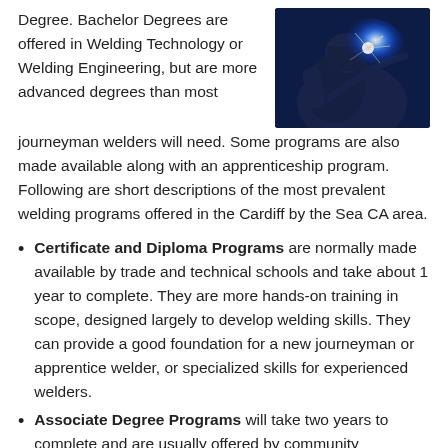Degree. Bachelor Degrees are offered in Welding Technology or Welding Engineering, but are more advanced degrees than most journeyman welders will need. Some programs are also made available along with an apprenticeship program. Following are short descriptions of the most prevalent welding programs offered in the Cardiff by the Sea CA area.
[Figure (photo): A welder working with a bright blue welding arc, wearing protective gear, close-up action shot with dark background.]
Certificate and Diploma Programs are normally made available by trade and technical schools and take about 1 year to complete. They are more hands-on training in scope, designed largely to develop welding skills. They can provide a good foundation for a new journeyman or apprentice welder, or specialized skills for experienced welders.
Associate Degree Programs will take two years to complete and are usually offered by community